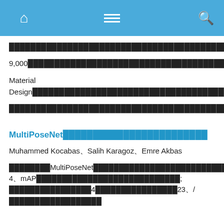Navigation bar with home, menu, and search icons
██████████████████████████████████████████████████████████████████████████████████
9,000██████████████████████████████████████████████████████████████████████████████
Material Design████████████████████████████████████████████████████UI
████████████████████████████████████[1807.04191v1]
MultiPoseNet████████████████████████
Muhammed Kocabas、Salih Karagoz、Emre Akbas
████████MultiPoseNet████████████████████████████████
████MultiPoseNet████████████████████████████████████
████PRN████████████████████████████████████████
COCO████████████████+ 4、mAP████████████████████
████████; ████████████████4████████████████23、/███
███████████████████